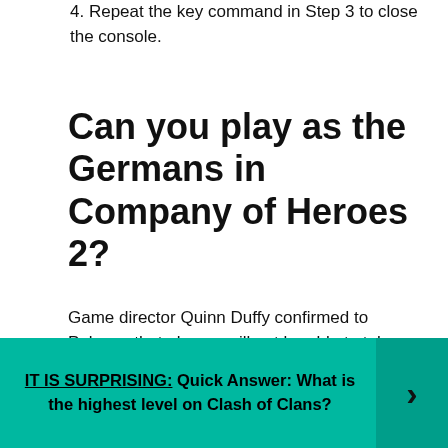4. Repeat the key command in Step 3 to close the console.
Can you play as the Germans in Company of Heroes 2?
Game director Quinn Duffy confirmed to Polygon that players will not be able to take control of the German Oberkommando West forces. … It’s sort of a new paradigm of games development, to constantly see new iterations of a game,” he said.
IT IS SURPRISING:  Quick Answer: What is the highest level on Clash of Clans?